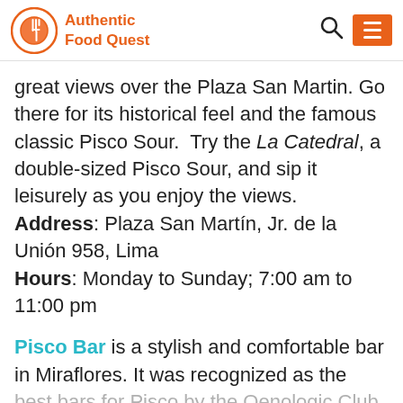Authentic Food Quest
great views over the Plaza San Martin. Go there for its historical feel and the famous classic Pisco Sour.  Try the La Catedral, a double-sized Pisco Sour, and sip it leisurely as you enjoy the views. Address: Plaza San Martín, Jr. de la Unión 958, Lima Hours: Monday to Sunday; 7:00 am to 11:00 pm
Pisco Bar is a stylish and comfortable bar in Miraflores. It was recognized as the best bars for Pisco by the Oenologic Club Magia del Pisco in 2015. They make